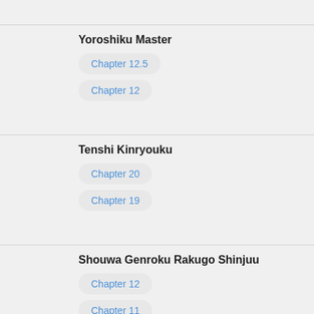Yoroshiku Master
Chapter 12.5
Chapter 12
Tenshi Kinryouku
Chapter 20
Chapter 19
Shouwa Genroku Rakugo Shinjuu
Chapter 12
Chapter 11